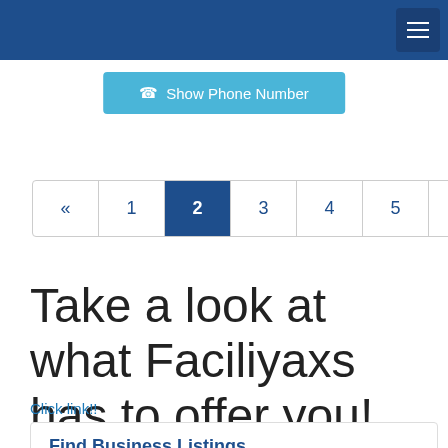Show Phone Number
« 1 2 3 4 5 »
Take a look at what Faciliyaxs has to offer you!
Click link!!
Find Business Listings